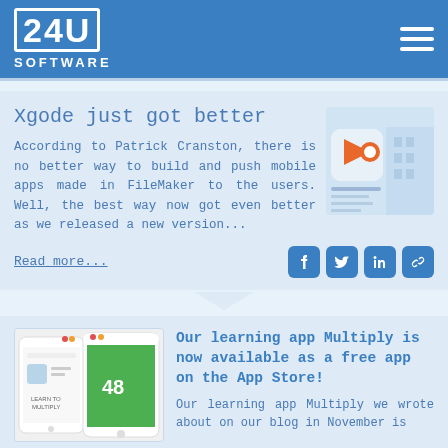24U SOFTWARE
Xgode just got better
According to Patrick Cranston, there is no better way to build and push mobile apps made in FileMaker to the users. Well, the best way now got even better as we released a new version...
[Figure (screenshot): Xgode app screenshot showing app icon and interface]
Read more...
[Figure (screenshot): Multiply learning app on mobile phones]
Our learning app Multiply is now available as a free app on the App Store!
Our learning app Multiply we wrote about on our blog in November is